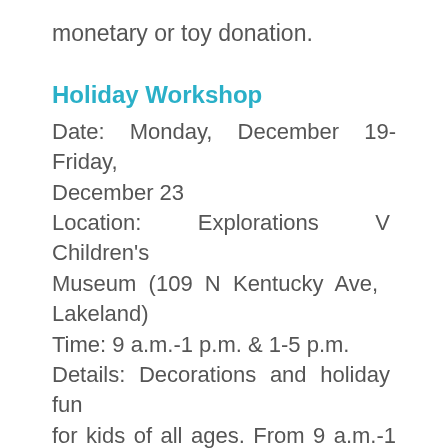monetary or toy donation.
Holiday Workshop
Date: Monday, December 19-Friday, December 23
Location: Explorations V Children's Museum (109 N Kentucky Ave, Lakeland)
Time: 9 a.m.-1 p.m. & 1-5 p.m.
Details: Decorations and holiday fun for kids of all ages. From 9 a.m.-1 p.m. will be Mrs. Claus' Kitchen featuring cookies, candy, and more. From 1-5